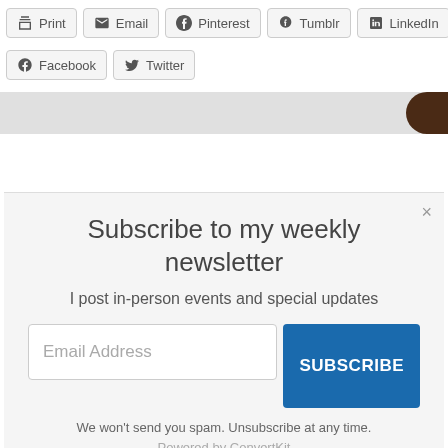[Figure (screenshot): Row of social share buttons: Print, Email, Pinterest, Tumblr, LinkedIn]
[Figure (screenshot): Second row of social share buttons: Facebook, Twitter]
Subscribe to my weekly newsletter
I post in-person events and special updates
Email Address
SUBSCRIBE
We won't send you spam. Unsubscribe at any time.
Powered by ConvertKit